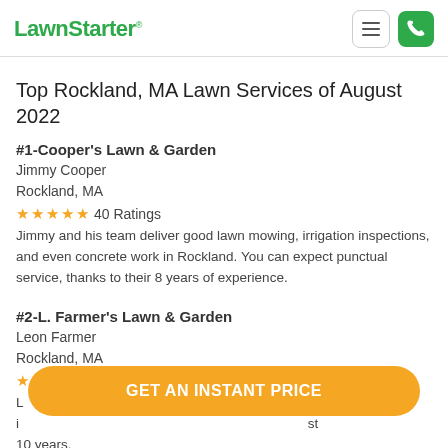LawnStarter
Top Rockland, MA Lawn Services of August 2022
#1-Cooper's Lawn & Garden
Jimmy Cooper
Rockland, MA
★★★★★ 40 Ratings
Jimmy and his team deliver good lawn mowing, irrigation inspections, and even concrete work in Rockland. You can expect punctual service, thanks to their 8 years of experience.
#2-L. Farmer's Lawn & Garden
Leon Farmer
Rockland, MA
★★★★★ 39 Ratings
L... inspections... last 10 years.